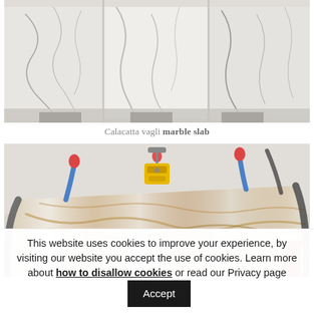[Figure (photo): Calacatta vagli marble slabs displayed upright in a warehouse setting, showing white background with grey veining across multiple large slabs]
Calacatta vagli marble slab
[Figure (photo): A large marble slab being lifted by crane rigging with red hooks and blue/dark straps, yellow clamp device. The marble shows white and golden-brown streaking veins. Industrial warehouse background.]
This website uses cookies to improve your experience, by visiting our website you accept the use of cookies. Learn more about how to disallow cookies or read our Privacy page  Accept